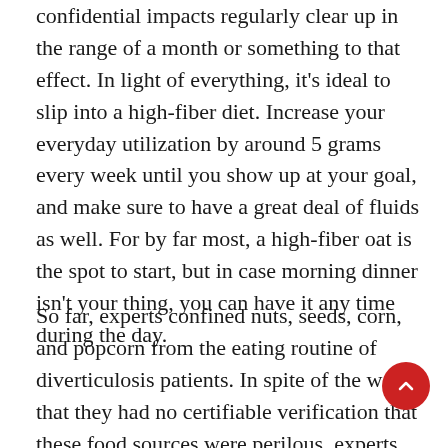confidential impacts regularly clear up in the range of a month or something to that effect. In light of everything, it's ideal to slip into a high-fiber diet. Increase your everyday utilization by around 5 grams every week until you show up at your goal, and make sure to have a great deal of fluids as well. For by far most, a high-fiber oat is the spot to start, but in case morning dinner isn't your thing, you can have it any time during the day.
So far, experts confined nuts, seeds, corn, and popcorn from the eating routine of diverticulosis patients. In spite of the way that they had no certifiable verification that these food sources were perilous, experts focused on that these little particles could pass into the colon undiges... and by a giving the area in the area of finding in the